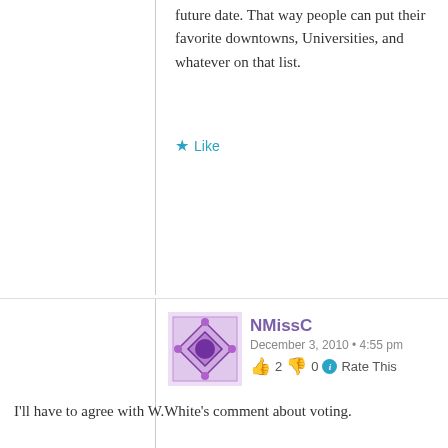future date. That way people can put their favorite downtowns, Universities, and whatever on that list.
Like
NMissC
December 3, 2010 • 4:55 pm
👍 2 👎 0 ℹ Rate This
I'll have to agree with W.White's comment about voting.
Like
Thomas Rosell
December 3, 2010 • 5:33 pm
👍 2 👎 0 ℹ Rate This
W. I agree about posting one at a time. I thought about it while posting mine but decided against it out